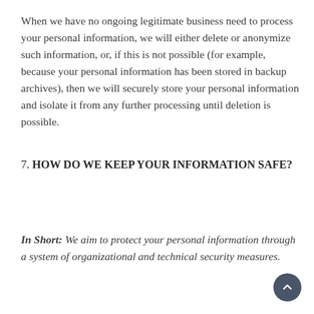When we have no ongoing legitimate business need to process your personal information, we will either delete or anonymize such information, or, if this is not possible (for example, because your personal information has been stored in backup archives), then we will securely store your personal information and isolate it from any further processing until deletion is possible.
7. HOW DO WE KEEP YOUR INFORMATION SAFE?
In Short: We aim to protect your personal information through a system of organizational and technical security measures.